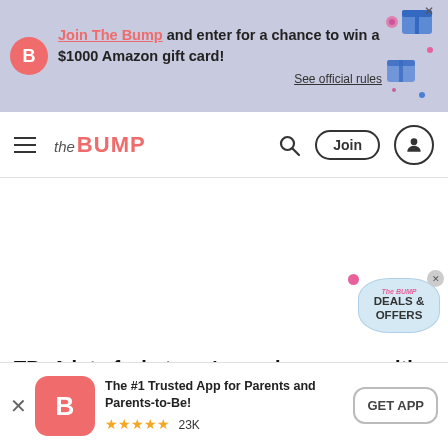Join The Bump and enter for a chance to win a $1000 Amazon gift card! See official rules
[Figure (logo): The Bump navigation bar with logo, search icon, Join button, and user icon]
TB: A lot of what you're saying comes with perspective. You became a mom in your 40s. What do you think has been the biggest benefit
The #1 Trusted App for Parents and Parents-to-Be! ★★★★★ 23K  GET APP